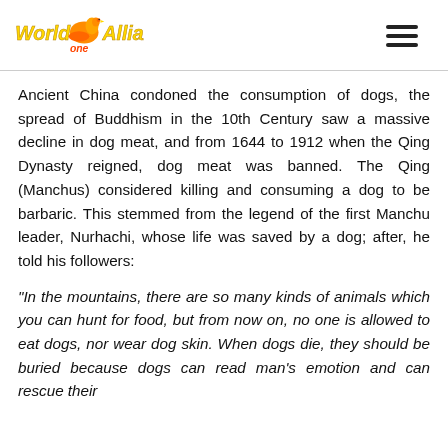World Alliance One [logo]
Ancient China condoned the consumption of dogs, the spread of Buddhism in the 10th Century saw a massive decline in dog meat, and from 1644 to 1912 when the Qing Dynasty reigned, dog meat was banned. The Qing (Manchus) considered killing and consuming a dog to be barbaric. This stemmed from the legend of the first Manchu leader, Nurhachi, whose life was saved by a dog; after, he told his followers:
“In the mountains, there are so many kinds of animals which you can hunt for food, but from now on, no one is allowed to eat dogs, nor wear dog skin. When dogs die, they should be buried because dogs can read man’s emotion and can rescue their